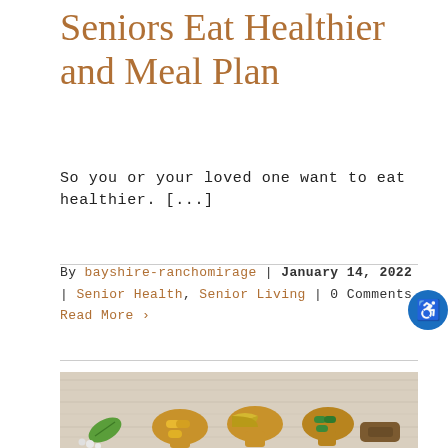Seniors Eat Healthier and Meal Plan
So you or your loved one want to eat healthier. [...]
By bayshire-ranchomirage | January 14, 2022 | Senior Health, Senior Living | 0 Comments
Read More >
[Figure (photo): Photo of wooden spoons holding various colored supplement capsules and a green leaf on a light wood background]